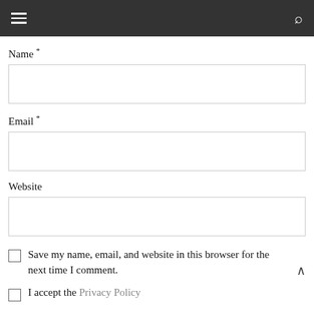Navigation bar with hamburger menu and search icon
Name *
Email *
Website
Save my name, email, and website in this browser for the next time I comment.
I accept the Privacy Policy